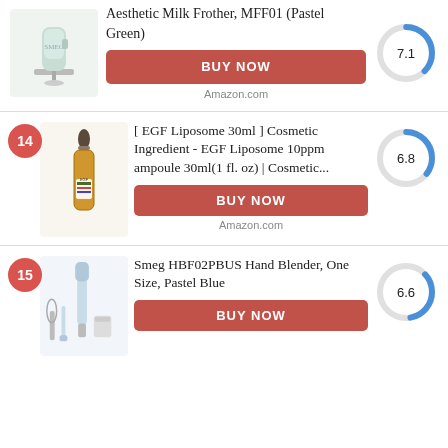[Figure (photo): Smeg milk frother product image (pastel green)]
Aesthetic Milk Frother, MFF01 (Pastel Green)
BUY NOW
Amazon.com
[Figure (donut-chart): Score]
14
[Figure (photo): EGF Liposome 30ml dropper bottle product image]
[ EGF Liposome 30ml ] Cosmetic Ingredient - EGF Liposome 10ppm ampoule 30ml(1 fl. oz) | Cosmetic...
BUY NOW
Amazon.com
[Figure (donut-chart): Score]
15
[Figure (photo): Smeg HBF02PBUS Hand Blender product image with accessories (pastel blue)]
Smeg HBF02PBUS Hand Blender, One Size, Pastel Blue
BUY NOW
[Figure (donut-chart): Score]